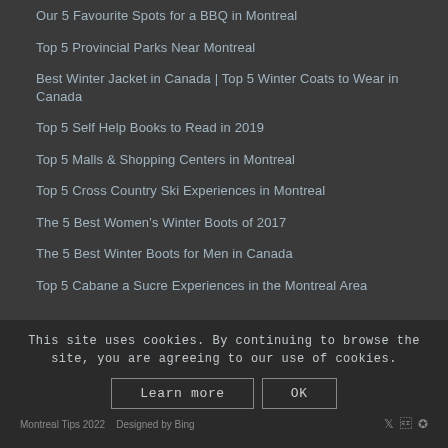Our 5 Favourite Spots for a BBQ in Montreal
Top 5 Provincial Parks Near Montreal
Best Winter Jacket in Canada | Top 5 Winter Coats to Wear in Canada
Top 5 Self Help Books to Read in 2019
Top 5 Malls & Shopping Centers in Montreal
Top 5 Cross Country Ski Experiences in Montreal
The 5 Best Women's Winter Boots of 2017
The 5 Best Winter Boots for Men in Canada
Top 5 Cabane a Sucre Experiences in the Montreal Area
This site uses cookies. By continuing to browse the site, you are agreeing to our use of cookies.
Montreal Tips 2022 · Designed by Bing